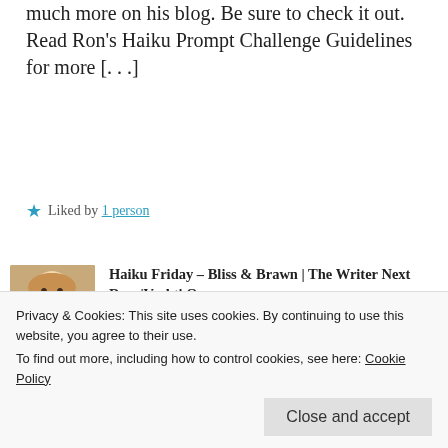much more on his blog. Be sure to check it out. Read Ron's Haiku Prompt Challenge Guidelines for more [...]
★ Liked by 1 person
Haiku Friday – Bliss & Brawn | The Writer Next Door|Vashti Q
June 22, 2018 at 3:39 pm
👍 0 👎 0 ℹ Rate This
Privacy & Cookies: This site uses cookies. By continuing to use this website, you agree to their use. To find out more, including how to control cookies, see here: Cookie Policy
Close and accept
★ Like